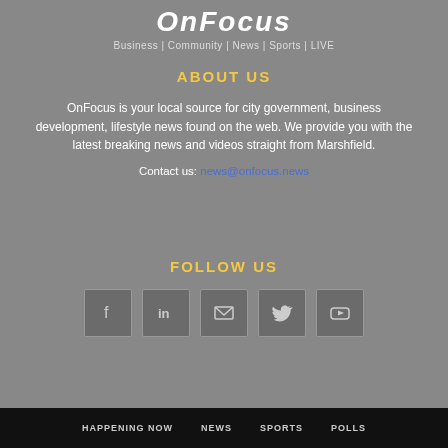OnFocus — Business | Community | News | Sports | LIVE
ABOUT US
OnFocus is your local source for city government, business development, lifestyle news found on the web. We provide you with the latest breaking news and videos straight from Marshfield.
Contact us: news@onfocus.news
FOLLOW US
[Figure (infographic): Five social media icon boxes: Facebook (f), LinkedIn (in), Email (envelope), Twitter (bird), YouTube (play button)]
HAPPENING NOW    NEWS    SPORTS    POLLS